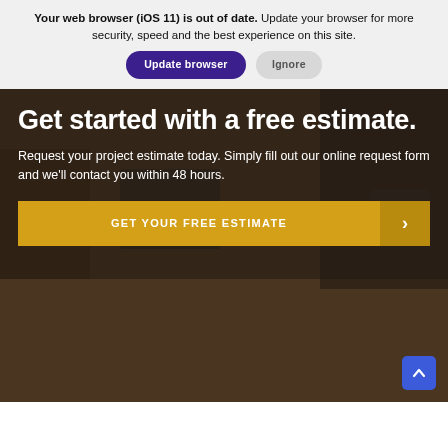Your web browser (iOS 11) is out of date. Update your browser for more security, speed and the best experience on this site.
[Figure (screenshot): Browser update notification banner with 'Update browser' (purple rounded button) and 'Ignore' (grey rounded button) action buttons]
Get started with a free estimate.
Request your project estimate today. Simply fill out our online request form and we'll contact you within 48 hours.
[Figure (other): GET YOUR FREE ESTIMATE call-to-action button in gold/yellow color with arrow chevron on right side]
[Figure (photo): Office/workspace background photo showing people working at desks with computers and filing shelves]
Scroll to top button (blue, with upward chevron arrow)